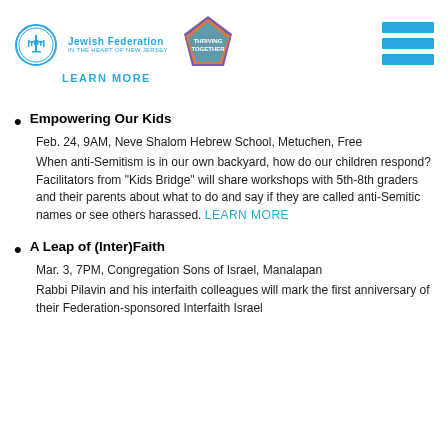[Figure (logo): Jewish Federation In the Heart of New Jersey logo with menorah icon]
[Figure (logo): Thriving Together diamond-shaped logo in purple, orange, and teal]
[Figure (illustration): Hamburger menu icon with three blue horizontal bars]
LEARN MORE
Empowering Our Kids
Feb. 24, 9AM, Neve Shalom Hebrew School, Metuchen, Free
When anti-Semitism is in our own backyard, how do our children respond? Facilitators from "Kids Bridge" will share workshops with 5th-8th graders and their parents about what to do and say if they are called anti-Semitic names or see others harassed. LEARN MORE
A Leap of (Inter)Faith
Mar. 3, 7PM, Congregation Sons of Israel, Manalapan
Rabbi Pilavin and his interfaith colleagues will mark the first anniversary of their Federation-sponsored Interfaith Israel